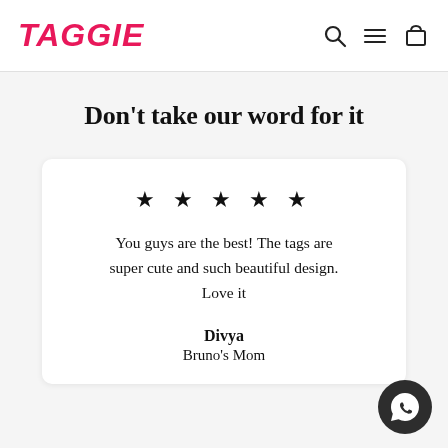TAGGIE
Don't take our word for it
★ ★ ★ ★ ★
You guys are the best! The tags are super cute and such beautiful design. Love it
Divya
Bruno's Mom